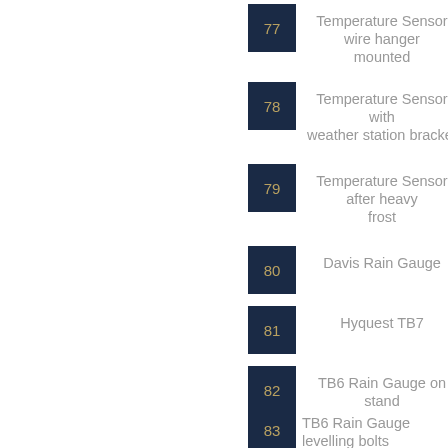77 Temperature Sensor wire hanger mounted
78 Temperature Sensor with weather station bracket
79 Temperature Sensor after heavy frost
80 Davis Rain Gauge
81 Hyquest TB7
82 TB6 Rain Gauge on stand
83 TB6 Rain Gauge levelling bolts